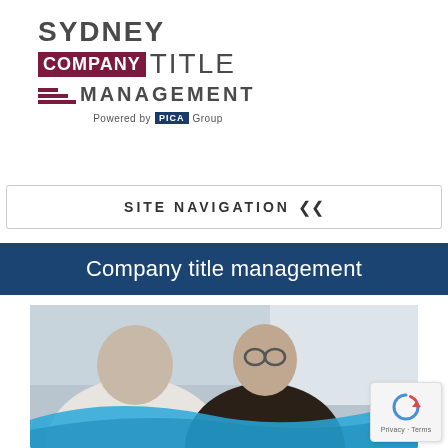[Figure (logo): Sydney Company Title Management logo powered by PICA Group]
SITE NAVIGATION ❯❯
Company title management
[Figure (photo): Two men having a business meeting/conversation at a table, one facing camera wearing glasses and dark plaid shirt, the other with back to camera in white shirt. Blue wave graphic overlay at bottom.]
[Figure (other): reCAPTCHA badge with Privacy and Terms links]